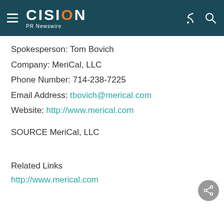CISION PR Newswire
Spokesperson: Tom Bovich
Company: MeriCal, LLC
Phone Number: 714-238-7225
Email Address: tbovich@merical.com
Website: http://www.merical.com
SOURCE MeriCal, LLC
Related Links
http://www.merical.com